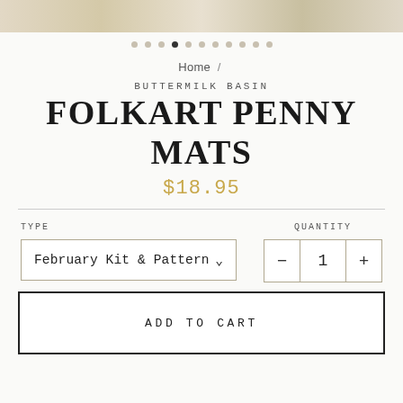[Figure (photo): Product image strip at top of e-commerce page showing crafting/sewing materials]
• • • • (filled) • • • • • • •
Home /
BUTTERMILK BASIN
FOLKART PENNY MATS
$18.95
TYPE
February Kit & Pattern
QUANTITY
1
ADD TO CART